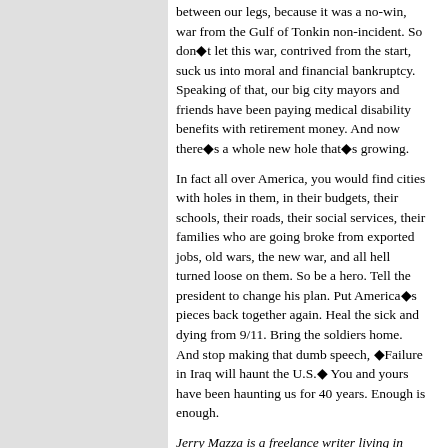between our legs, because it was a no-win, war from the Gulf of Tonkin non-incident. So don◆t let this war, contrived from the start, suck us into moral and financial bankruptcy. Speaking of that, our big city mayors and friends have been paying medical disability benefits with retirement money. And now there◆s a whole new hole that◆s growing.
In fact all over America, you would find cities with holes in them, in their budgets, their schools, their roads, their social services, their families who are going broke from exported jobs, old wars, the new war, and all hell turned loose on them. So be a hero. Tell the president to change his plan. Put America◆s pieces back together again. Heal the sick and dying from 9/11. Bring the soldiers home. And stop making that dumb speech, ◆Failure in Iraq will haunt the U.S.◆ You and yours have been haunting us for 40 years. Enough is enough.
Jerry Mazza is a freelance writer living in New York City. Reach him at gvmaz@verizon.net.
Copyright © 1998-2007 Online Journal
Email Online Journal Editor
Top of Page